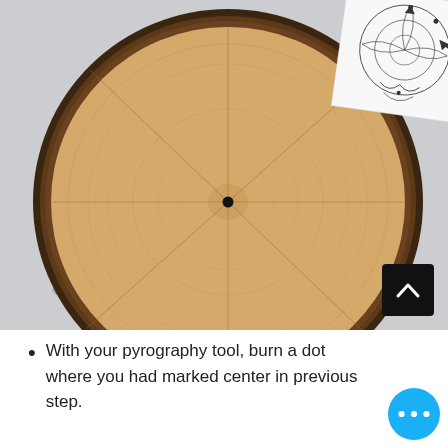[Figure (photo): A circular wood slice (cross-section of a log) viewed from above on a white surface. The wood has a light tan color with visible growth rings and bark around the edges. Lines are drawn from center to edges dividing it into sections, with a small black dot burned at the center. In the top right corner, a partial view of a paper with a mandala/geometric pattern is visible.]
With your pyrography tool, burn a dot where you had marked center in previous step.